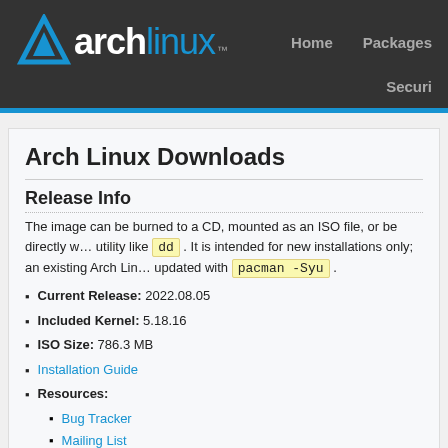Arch Linux — Home | Packages | Securi…
Arch Linux Downloads
Release Info
The image can be burned to a CD, mounted as an ISO file, or be directly w… utility like dd . It is intended for new installations only; an existing Arch Lin… updated with pacman -Syu .
Current Release: 2022.08.05
Included Kernel: 5.18.16
ISO Size: 786.3 MB
Installation Guide
Resources:
Bug Tracker
Mailing List
Existing Arch Users
If you are an existing Arch user, there is no need to download a new ISO t… M…